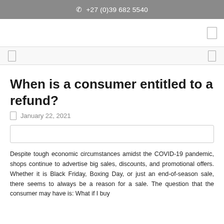📞 +27 (0)39 682 5540
When is a consumer entitled to a refund?
January 22, 2021
Despite tough economic circumstances amidst the COVID-19 pandemic, shops continue to advertise big sales, discounts, and promotional offers. Whether it is Black Friday, Boxing Day, or just an end-of-season sale, there seems to always be a reason for a sale. The question that the consumer may have is: What if I buy